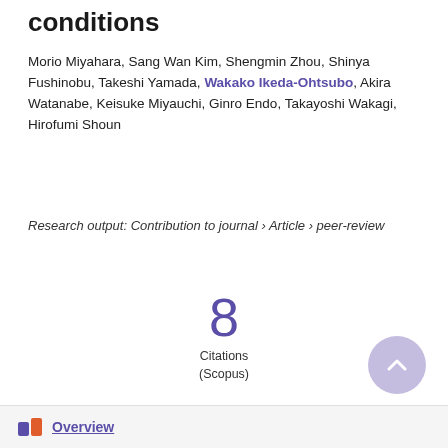conditions
Morio Miyahara, Sang Wan Kim, Shengmin Zhou, Shinya Fushinobu, Takeshi Yamada, Wakako Ikeda-Ohtsubo, Akira Watanabe, Keisuke Miyauchi, Ginro Endo, Takayoshi Wakagi, Hirofumi Shoun
Research output: Contribution to journal › Article › peer-review
8
Citations
(Scopus)
Overview